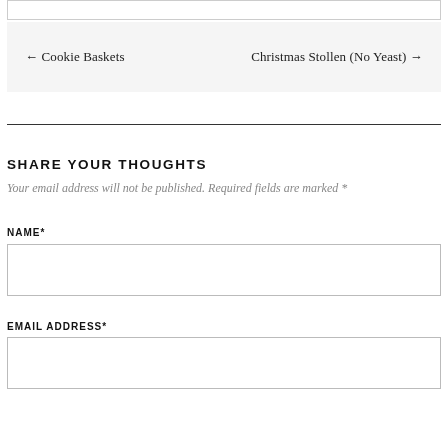← Cookie Baskets    Christmas Stollen (No Yeast) →
SHARE YOUR THOUGHTS
Your email address will not be published. Required fields are marked *
NAME*
[Figure (other): Empty text input field for Name]
EMAIL ADDRESS*
[Figure (other): Empty text input field for Email Address]